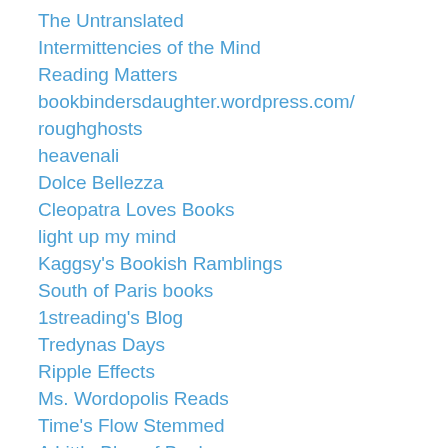The Untranslated
Intermittencies of the Mind
Reading Matters
bookbindersdaughter.wordpress.com/
roughghosts
heavenali
Dolce Bellezza
Cleopatra Loves Books
light up my mind
Kaggsy's Bookish Ramblings
South of Paris books
1streading's Blog
Tredynas Days
Ripple Effects
Ms. Wordopolis Reads
Time's Flow Stemmed
A Little Blog of Books
BookManiac.fr
Tony's Reading List
Whispering Gums